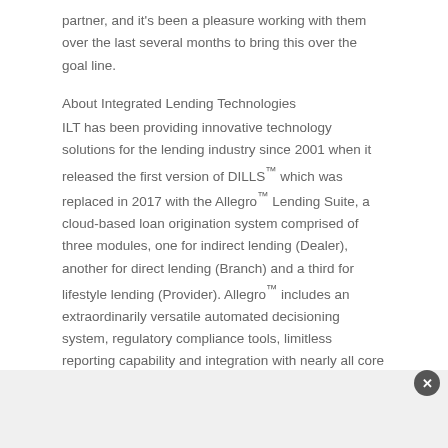partner, and it's been a pleasure working with them over the last several months to bring this over the goal line.
About Integrated Lending Technologies
ILT has been providing innovative technology solutions for the lending industry since 2001 when it released the first version of DILLS™ which was replaced in 2017 with the Allegro™ Lending Suite, a cloud-based loan origination system comprised of three modules, one for indirect lending (Dealer), another for direct lending (Branch) and a third for lifestyle lending (Provider). Allegro™ includes an extraordinarily versatile automated decisioning system, regulatory compliance tools, limitless reporting capability and integration with nearly all core management systems. And, like its predecessor, Allegro™ includes options to make it the ultimate